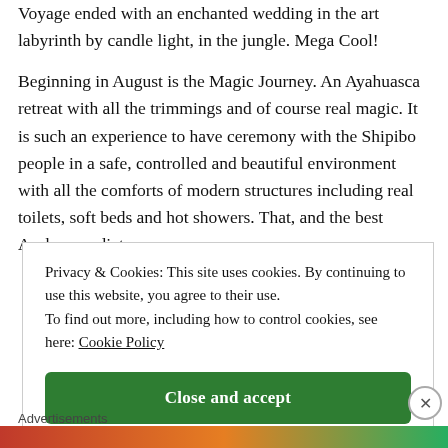Voyage ended with an enchanted wedding in the art labyrinth by candle light, in the jungle. Mega Cool!
Beginning in August is the Magic Journey. An Ayahuasca retreat with all the trimmings and of course real magic. It is such an experience to have ceremony with the Shipibo people in a safe, controlled and beautiful environment with all the comforts of modern structures including real toilets, soft beds and hot showers. That, and the best Ayahuasca diet ever.
Privacy & Cookies: This site uses cookies. By continuing to use this website, you agree to their use. To find out more, including how to control cookies, see here: Cookie Policy
Close and accept
Advertisements